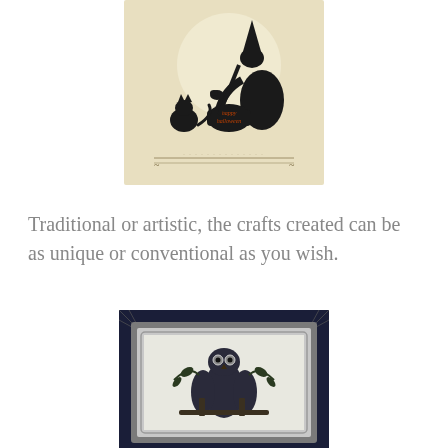[Figure (illustration): Halloween illustration showing a witch silhouette stirring a cauldron with 'happy halloween' text, a black cat, a crow, and a large moon in the background on a tan/cream colored card.]
Traditional or artistic, the crafts created can be as unique or conventional as you wish.
[Figure (illustration): Halloween cross-stitch or framed artwork featuring a black owl perched on branches with leaves, inside a decorative gray frame, set against a dark navy border with spider web corners.]